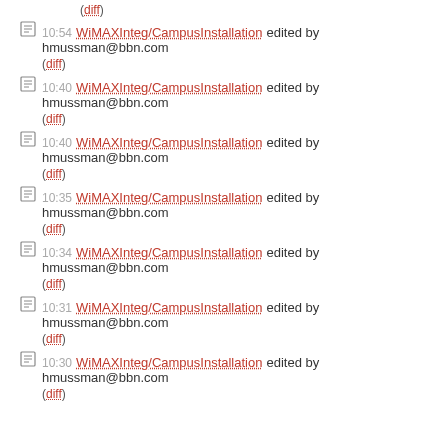(diff)
10:54 WiMAXInteg/CampusInstallation edited by hmussman@bbn.com (diff)
10:40 WiMAXInteg/CampusInstallation edited by hmussman@bbn.com (diff)
10:40 WiMAXInteg/CampusInstallation edited by hmussman@bbn.com (diff)
10:35 WiMAXInteg/CampusInstallation edited by hmussman@bbn.com (diff)
10:34 WiMAXInteg/CampusInstallation edited by hmussman@bbn.com (diff)
10:31 WiMAXInteg/CampusInstallation edited by hmussman@bbn.com (diff)
10:30 WiMAXInteg/CampusInstallation edited by hmussman@bbn.com (diff)